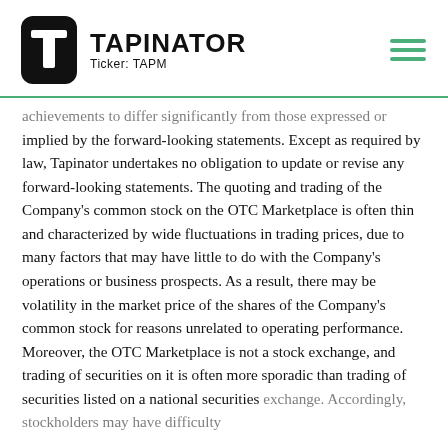TAPINATOR Ticker: TAPM
achievements to differ significantly from those expressed or implied by the forward-looking statements. Except as required by law, Tapinator undertakes no obligation to update or revise any forward-looking statements. The quoting and trading of the Company's common stock on the OTC Marketplace is often thin and characterized by wide fluctuations in trading prices, due to many factors that may have little to do with the Company's operations or business prospects. As a result, there may be volatility in the market price of the shares of the Company's common stock for reasons unrelated to operating performance. Moreover, the OTC Marketplace is not a stock exchange, and trading of securities on it is often more sporadic than trading of securities listed on a national securities exchange. Accordingly, stockholders may have difficulty